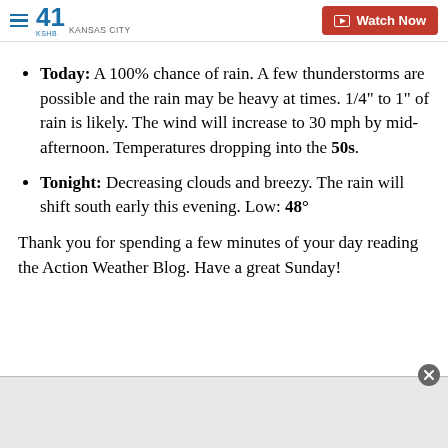KSHB 41 KANSAS CITY | Watch Now
Today: A 100% chance of rain. A few thunderstorms are possible and the rain may be heavy at times. 1/4" to 1" of rain is likely. The wind will increase to 30 mph by mid-afternoon. Temperatures dropping into the 50s.
Tonight: Decreasing clouds and breezy. The rain will shift south early this evening. Low: 48°
Thank you for spending a few minutes of your day reading the Action Weather Blog. Have a great Sunday!